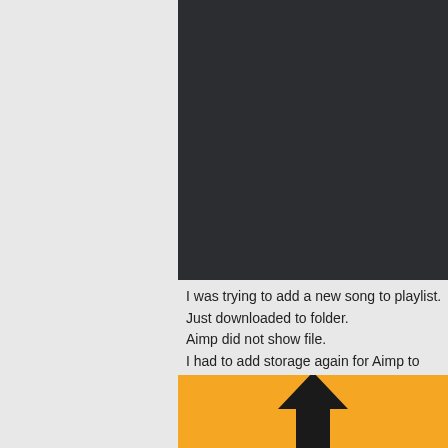[Figure (screenshot): Dark panel showing partial text 'com.aimp.play' in light gray on dark background]
I was trying to add a new song to playlist.
Just downloaded to folder.
Aimp did not show file.
I had to add storage again for Aimp to recognize new file

Currently I only added this storage:
[Figure (screenshot): Orange panel with a black upward-pointing arrow icon]